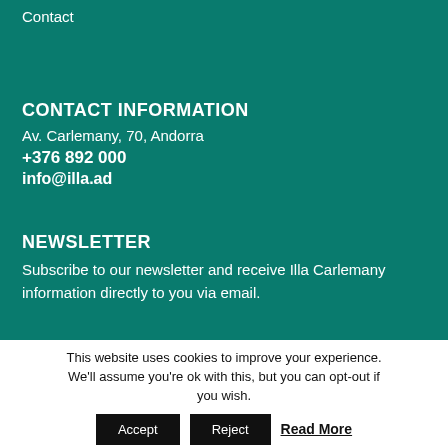Contact
CONTACT INFORMATION
Av. Carlemany, 70, Andorra
+376 892 000
info@illa.ad
NEWSLETTER
Subscribe to our newsletter and receive Illa Carlemany information directly to you via email.
This website uses cookies to improve your experience. We'll assume you're ok with this, but you can opt-out if you wish.